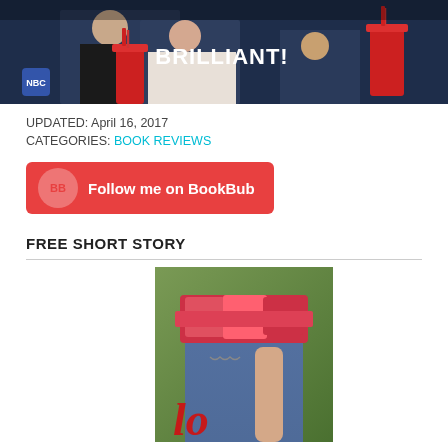[Figure (screenshot): TV show screenshot with text overlay 'BRILLIANT!' and people seated at a judges table with red cups, NBC logo in bottom left]
UPDATED: April 16, 2017
CATEGORIES: BOOK REVIEWS
[Figure (other): Red BookBub button with BB logo and text 'Follow me on BookBub']
FREE SHORT STORY
[Figure (photo): Book cover showing a person in jeans and ruffled top with red cursive text starting with 'lo']